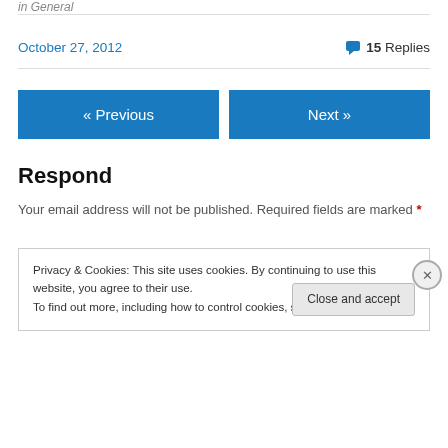in General
October 27, 2012
15 Replies
« Previous
Next »
Respond
Your email address will not be published. Required fields are marked *
Privacy & Cookies: This site uses cookies. By continuing to use this website, you agree to their use.
To find out more, including how to control cookies, see here: Cookie Policy